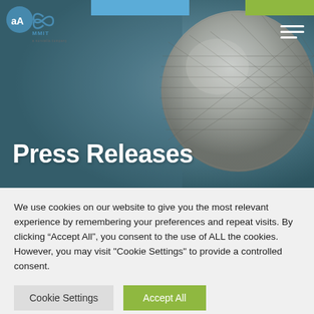[Figure (photo): Hero banner with blurred microphone close-up in background with blue-gray overlay tones, showing the head of a silver mesh microphone on the right side]
Press Releases
We use cookies on our website to give you the most relevant experience by remembering your preferences and repeat visits. By clicking “Accept All”, you consent to the use of ALL the cookies. However, you may visit "Cookie Settings" to provide a controlled consent.